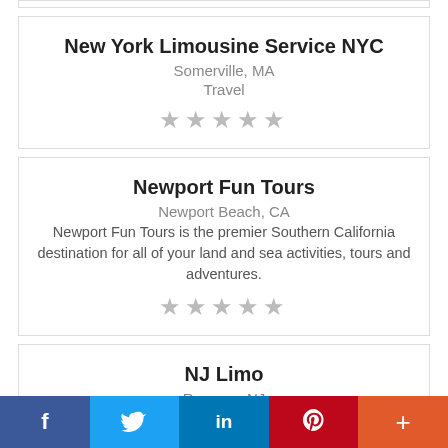New York Limousine Service NYC
Somerville, MA
Travel
[Figure (other): 5 empty star rating icons]
Newport Fun Tours
Newport Beach, CA
Newport Fun Tours is the premier Southern California destination for all of your land and sea activities, tours and adventures.
[Figure (other): 5 empty star rating icons]
NJ Limo
Rumson, NJ
Since 1999, NJ LIMO is dedicated to providing clients the highest level of limousine service in
f  [Twitter bird]  in  P  +